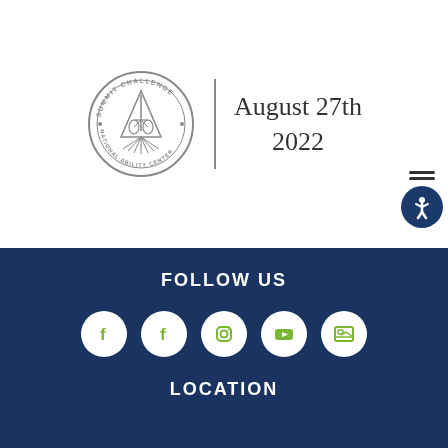[Figure (logo): Summit Challenge National Ability Center circular logo with bicycle and triangle design, followed by a vertical divider line and handwritten-style date 'August 27th 2022']
[Figure (infographic): Accessibility icon button with hamburger menu lines above a dark blue circle containing a white person icon]
FOLLOW US
[Figure (infographic): Five white circular social media icon buttons: Facebook, Facebook, Instagram, YouTube, and a gallery/photo icon, displayed in a row on dark navy background]
LOCATION